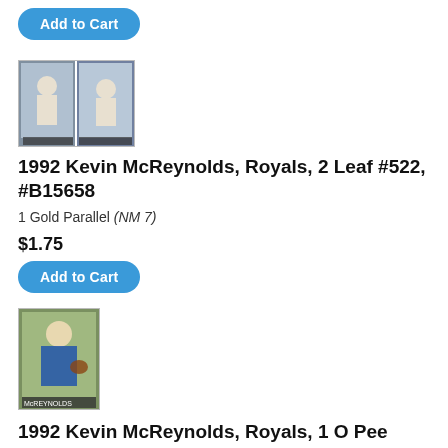[Figure (photo): Add to Cart button at top of page]
[Figure (photo): Two baseball card images for 1992 Kevin McReynolds Royals 2 Leaf card]
1992 Kevin McReynolds, Royals, 2 Leaf #522, #B15658
1 Gold Parallel (NM 7)
$1.75
[Figure (photo): Add to Cart button]
[Figure (photo): Single baseball card image for 1992 Kevin McReynolds Royals O Pee Chee card]
1992 Kevin McReynolds, Royals, 1 O Pee Chee #54, #B15659
Premier
$1.65
[Figure (photo): Add to Cart button]